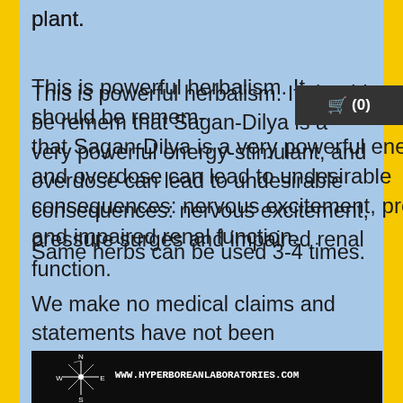plant.
This is powerful herbalism. It should be remembered that Sagan-Dilya is a very powerful energy-stimulant, and overdose can lead to undesirable consequences: nervous excitement, pressure surges and impaired renal function.
Same herbs can be used 3-4 times.
We make no medical claims and statements have not been evaluated by the FDA.
[Figure (photo): Dark background with a compass rose showing N, S, E, W directions and the text www.hyperboreanlaboratories.com, with a dark product bag visible on the right side.]